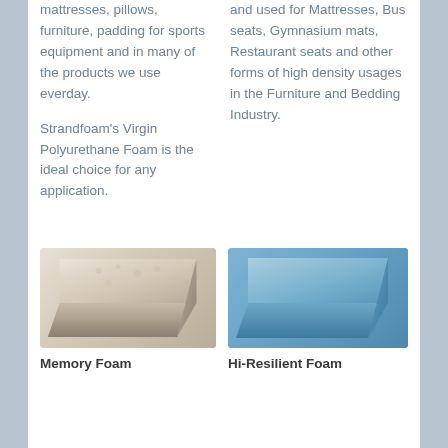mattresses, pillows, furniture, padding for sports equipment and in many of the products we use everday.
and used for Mattresses, Bus seats, Gymnasium mats, Restaurant seats and other forms of high density usages in the Furniture and Bedding Industry.
Strandfoam's Virgin Polyurethane Foam is the ideal choice for any application.
[Figure (photo): A triangular wedge-shaped piece of cream/beige memory foam with a textured top surface, photographed at an angle]
[Figure (photo): A triangular wedge-shaped piece of blue hi-resilient foam, photographed at an angle]
Memory Foam
Hi-Resilient Foam